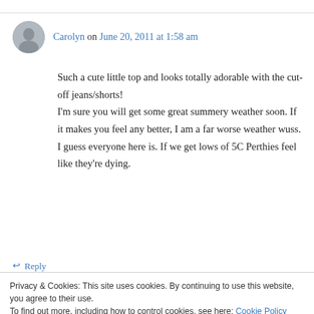Carolyn on June 20, 2011 at 1:58 am
Such a cute little top and looks totally adorable with the cut-off jeans/shorts! I'm sure you will get some great summery weather soon. If it makes you feel any better, I am a far worse weather wuss. I guess everyone here is. If we get lows of 5C Perthies feel like they're dying.
Reply
Privacy & Cookies: This site uses cookies. By continuing to use this website, you agree to their use. To find out more, including how to control cookies, see here: Cookie Policy
Close and accept
Zena on June 20, 2011 at 9:43 am